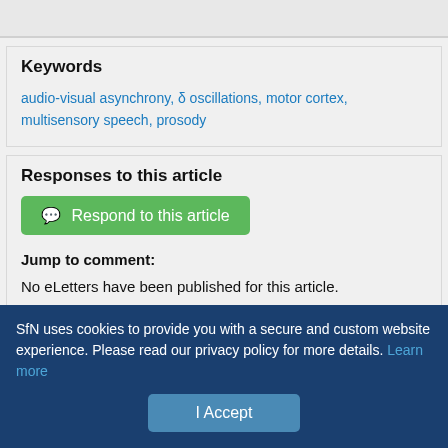Keywords
audio-visual asynchrony, δ oscillations, motor cortex, multisensory speech, prosody
Responses to this article
Respond to this article
Jump to comment:
No eLetters have been published for this article.
SfN uses cookies to provide you with a secure and custom website experience. Please read our privacy policy for more details. Learn more
I Accept